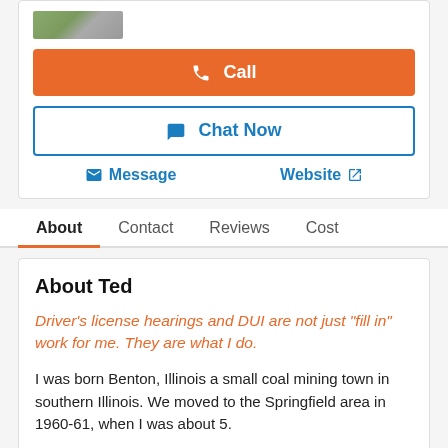[Figure (photo): Small thumbnail photo of a house/property, partially visible at top]
Call
Chat Now
Message
Website
About
Contact
Reviews
Cost
About Ted
Driver's license hearings and DUI are not just "fill in" work for me. They are what I do.
I was born Benton, Illinois a small coal mining town in southern Illinois. We moved to the Springfield area in 1960-61, when I was about 5.